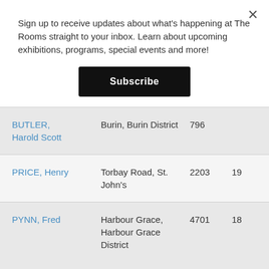Sign up to receive updates about what's happening at The Rooms straight to your inbox. Learn about upcoming exhibitions, programs, special events and more!
Subscribe
| Name | Location | Number |  |
| --- | --- | --- | --- |
| BUTLER, Harold Scott | Burin, Burin District | 796 |  |
| PRICE, Henry | Torbay Road, St. John's | 2203 | 19 |
| PYNN, Fred | Harbour Grace, Harbour Grace District | 4701 | 18 |